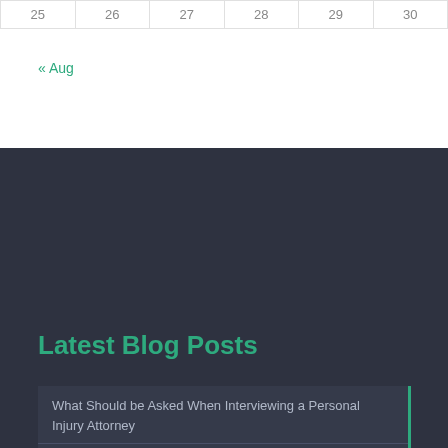| 25 | 26 | 27 | 28 | 29 | 30 |
| --- | --- | --- | --- | --- | --- |
« Aug
Latest Blog Posts
What Should be Asked When Interviewing a Personal Injury Attorney
September 1, 2022
Is there a Problem if Stopped by the Police and License is Suspended?
August 30, 2022
Who Pays Medical Bills for People Injured in a Car